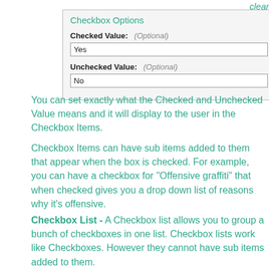[Figure (screenshot): Checkbox Options form panel with Checked Value field showing 'Yes' and Unchecked Value field showing 'No', both marked Optional]
on P... clear...
You can set exactly what the Checked and Unchecked Value means and it will display to the user in the Checkbox Items.
Checkbox Items can have sub items added to them that appear when the box is checked. For example, you can have a checkbox for "Offensive graffiti" that when checked gives you a drop down list of reasons why it's offensive.
Checkbox List - A Checkbox list allows you to group a bunch of checkboxes in one list. Checkbox lists work like Checkboxes. However they cannot have sub items added to them.
Dropdown List/Radio Button/A...